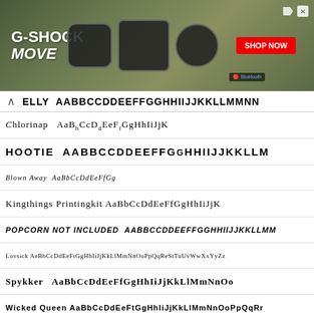[Figure (photo): G-SHOCK MOVE advertisement banner with watches and SHOP NOW button]
ELLY AABBCCDDEEFFGGHHIIJJKKLLMMNN
Chlorinap AaBbCcDdEeFfGgHhIiJjK
HOOTIE AABBCCDDEEFFGGHHHIIJJKKLLM
Blown Away AaBbCcDdEeFfGg
Kingthings Printingkit AaBbCcDdEeFfGgHhIiJjK
POPCORN NOT INCLUDED AABBCCDDEEFFGGHHIIJJKKLLMM
Lovsick AeBbCcDdEeFfGgHhIiJjKkLlMmNnOoPpQqReStTuVvWwXxYyZz
SPYKKER AaBbCcDdEeFfGgHhIiJjKkLlMmNnOo
Wicked Queen AaBbCcDdEeFfGgHhIiJjKkLlMmNnOoPpQqRr
LIPSTICK TRACES AABBCCDDEEFF
AaB C D E F G (decorative/symbols font)